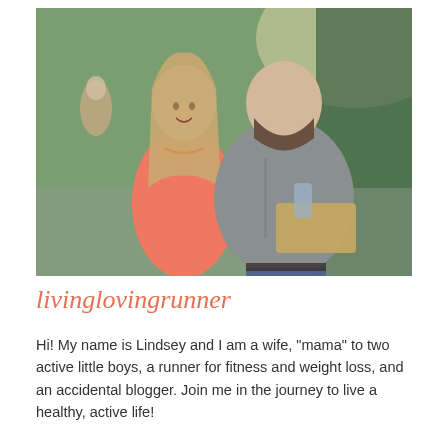[Figure (photo): A couple standing outdoors at what appears to be an outdoor event. A young woman with long blonde hair wearing a coral/pink dress with a necklace stands next to a bearded man in a gray button-up shirt holding a tray and bottle. Green grass and trees visible in background.]
livinglovingrunner
Hi! My name is Lindsey and I am a wife, "mama" to two active little boys, a runner for fitness and weight loss, and an accidental blogger. Join me in the journey to live a healthy, active life!